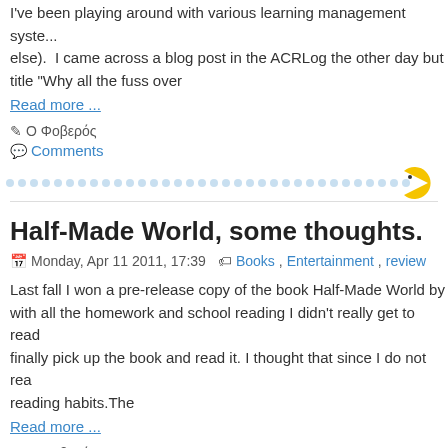I've been playing around with various learning management syste... else).  I came across a blog post in the ACRLog the other day but title "Why all the fuss over
Read more ...
✎ Ο Φοβερός
💬 Comments
[Figure (illustration): Dotted horizontal divider line with a yellow pac-man icon on the right end]
Half-Made World, some thoughts.
Monday, Apr 11 2011, 17:39  Books, Entertainment, review
Last fall I won a pre-release copy of the book Half-Made World by with all the homework and school reading I didn't really get to read finally pick up the book and read it. I thought that since I do not rea reading habits.The
Read more ...
✎ Ο Φοβερός